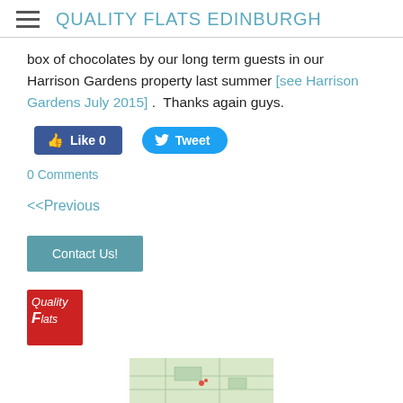QUALITY FLATS EDINBURGH
box of chocolates by our long term guests in our Harrison Gardens property last summer [see Harrison Gardens July 2015] .  Thanks again guys.
[Figure (other): Facebook Like button (Like 0) and Twitter Tweet button]
0 Comments
<<Previous
Contact Us!
[Figure (logo): Quality Flats logo — red square with italic Q and F letters]
[Figure (map): Partial map thumbnail at bottom of page]